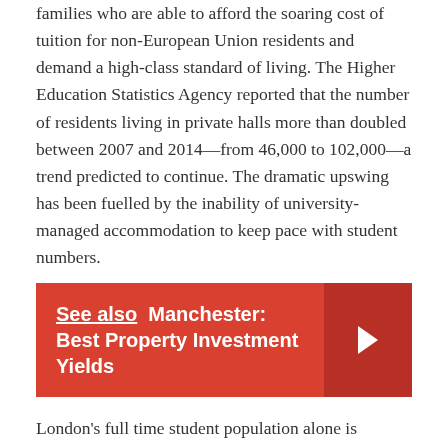families who are able to afford the soaring cost of tuition for non-European Union residents and demand a high-class standard of living. The Higher Education Statistics Agency reported that the number of residents living in private halls more than doubled between 2007 and 2014—from 46,000 to 102,000—a trend predicted to continue. The dramatic upswing has been fuelled by the inability of university-managed accommodation to keep pace with student numbers.
See also  Manchester: Best Property Investment Yields
London's full time student population alone is expected to rise by 50% in the next 10 years, whilst student cities, particularly where there is a Russell Group university, is expected to see dramatic increases in student numbers. EU and non-EU students are the fastest growing segment, bringing a net benefit of £2.3 billion per annum to London's economy supporting 60,000 jobs in the capital.